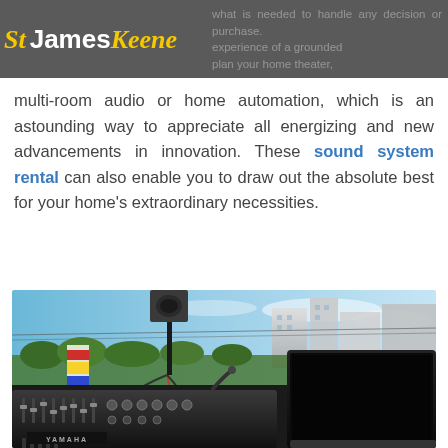St James Keene
what is needed to handle any decision or purchase. experience of a grounded plan your home theater, multi-room audio or home automation, which is an astounding way to appreciate all energizing and new advancements in innovation. These sound system rental can also enable you to draw out the absolute best for your home’s extraordinary necessities.
[Figure (photo): Outdoor sound system setup showing a Yamaha audio mixer in the foreground, a laptop computer on the right, a speaker on a stand in the background center, with colorful banners and buildings visible in the background sky.]